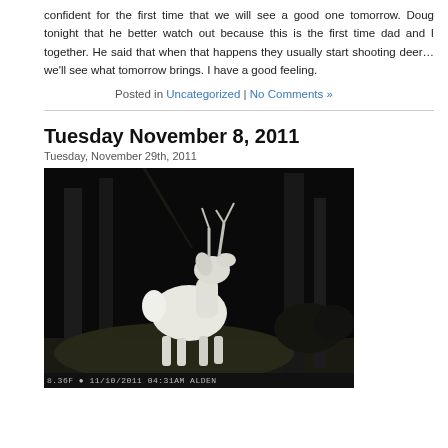confident for the first time that we will see a good one tomorrow. Doug tonight that he better watch out because this is the first time dad and I together. He said that when that happens they usually start shooting deer… we'll see what tomorrow brings. I have a good feeling.
Posted in Uncategorized | No Comments »
Tuesday November 8, 2011
Tuesday, November 29th, 2011
[Figure (photo): Night trail camera photo of a white-tailed deer buck standing in a forest, illuminated by infrared flash. Timestamp overlay reads: 8.36F 11/10/2011 04:31AM ALDEN]
It looks like the de started moving today. Dad and I hunted and area we haven't hunted in qu years. I'm not sure why we haven't been there, but we haven't. It's a place w used to see a lot of deer and some big ones, too. I actually don't remembe time my feet touched the forest floor in that area. It felt good to return there. I saw a 5-pointer come off a ridge behind me. He diddled around in a scra from a scrub before disappearing up the hill. I got to put the camera on the